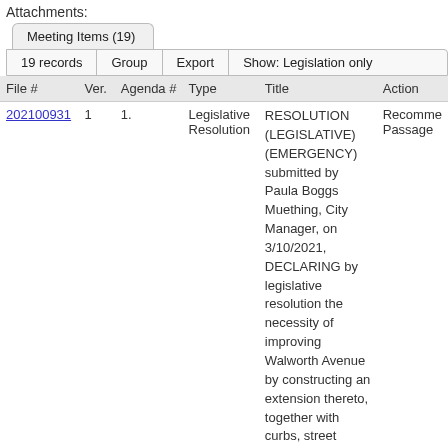Attachments:
| File # | Ver. | Agenda # | Type | Title | Action |
| --- | --- | --- | --- | --- | --- |
| 202100931 | 1 | 1. | Legislative Resolution | RESOLUTION (LEGISLATIVE) (EMERGENCY) submitted by Paula Boggs Muething, City Manager, on 3/10/2021, DECLARING by legislative resolution the necessity of improving Walworth Avenue by constructing an extension thereto, together with curbs, street lighting, streetscaping, sidewalks, water mains, and storm and sanitary sewer; necessary remediation of soil in | Recomme... Passage |